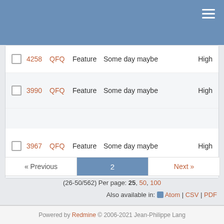|  | # | Project | Tracker | Status | Priority |
| --- | --- | --- | --- | --- | --- |
| ☐ | 4258 | QFQ | Feature | Some day maybe | High |
| ☐ | 3990 | QFQ | Feature | Some day maybe | High |
| ☐ | 3967 | QFQ | Feature | Some day maybe | High |
« Previous  2  Next »
(26-50/562) Per page: 25, 50, 100
Also available in: Atom | CSV | PDF
Powered by Redmine © 2006-2021 Jean-Philippe Lang